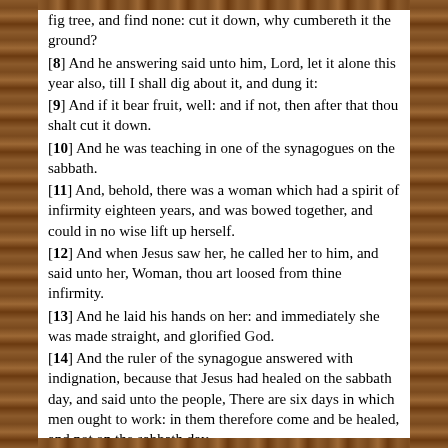fig tree, and find none: cut it down, why cumbereth it the ground? [8] And he answering said unto him, Lord, let it alone this year also, till I shall dig about it, and dung it: [9] And if it bear fruit, well: and if not, then after that thou shalt cut it down. [10] And he was teaching in one of the synagogues on the sabbath. [11] And, behold, there was a woman which had a spirit of infirmity eighteen years, and was bowed together, and could in no wise lift up herself. [12] And when Jesus saw her, he called her to him, and said unto her, Woman, thou art loosed from thine infirmity. [13] And he laid his hands on her: and immediately she was made straight, and glorified God. [14] And the ruler of the synagogue answered with indignation, because that Jesus had healed on the sabbath day, and said unto the people, There are six days in which men ought to work: in them therefore come and be healed, and not on the sabbath day. [15] The Lord then answered him, and said, Thou hypocrite, doth not each one of you on the sabbath loose his ox or his ass from the stall, and lead him away to watering? [16] And ought not this woman, being a daughter of